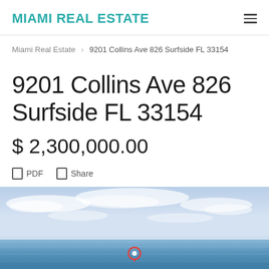MIAMI REAL ESTATE
Miami Real Estate > 9201 Collins Ave 826 Surfside FL 33154
9201 Collins Ave 826 Surfside FL 33154
$ 2,300,000.00
PDF  Share
[Figure (photo): Aerial or elevated view of ocean horizon with blue sky and clouds, small beach strip visible at bottom, location pin marker in center]